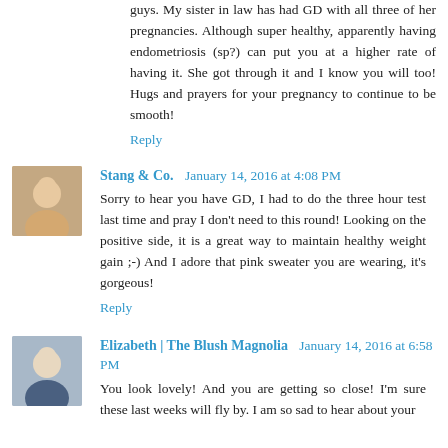guys. My sister in law has had GD with all three of her pregnancies. Although super healthy, apparently having endometriosis (sp?) can put you at a higher rate of having it. She got through it and I know you will too! Hugs and prayers for your pregnancy to continue to be smooth!
Reply
Stang & Co.  January 14, 2016 at 4:08 PM
Sorry to hear you have GD, I had to do the three hour test last time and pray I don't need to this round! Looking on the positive side, it is a great way to maintain healthy weight gain ;-) And I adore that pink sweater you are wearing, it's gorgeous!
Reply
Elizabeth | The Blush Magnolia  January 14, 2016 at 6:58 PM
You look lovely! And you are getting so close! I'm sure these last weeks will fly by. I am so sad to hear about your